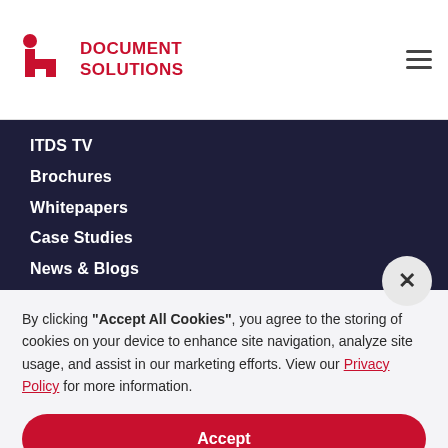[Figure (logo): ITDS Document Solutions logo with red icon and red bold text]
ITDS TV
Brochures
Whitepapers
Case Studies
News & Blogs
By clicking "Accept All Cookies", you agree to the storing of cookies on your device to enhance site navigation, analyze site usage, and assist in our marketing efforts. View our Privacy Policy for more information.
Accept
Deny